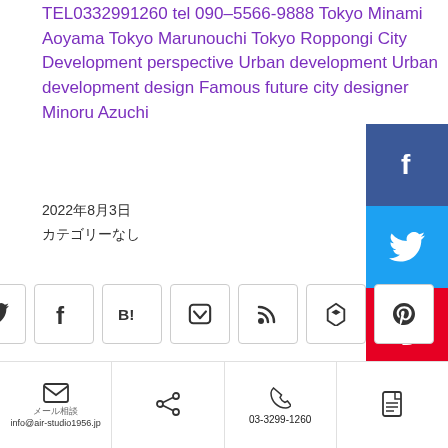TEL0332991260 tel 090–5566-9888 Tokyo Minami Aoyama Tokyo Marunouchi Tokyo Roppongi City Development perspective Urban development Urban development design Famous future city designer Minoru Azuchi
2022年8月3日
カテゴリーなし
[Figure (infographic): Vertical social share sidebar with Facebook (dark blue), Twitter (light blue), Pinterest (red), VK (blue), and scroll/top buttons]
[Figure (infographic): Horizontal row of 7 share buttons: Twitter, Facebook, Hatena B!, Pocket, RSS, Feedly, Pinterest]
✏ 投稿者: airstudio
info@air-studio1956.jp  |  share  |  03-3299-1260  |  document